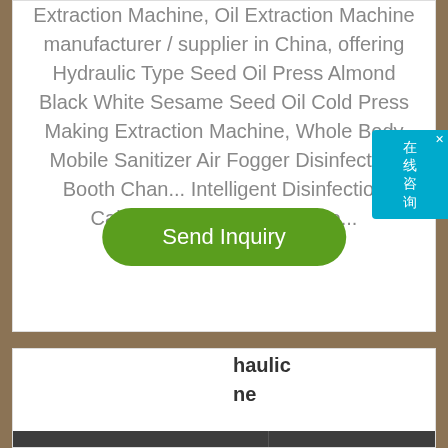Extraction Machine, Oil Extraction Machine manufacturer / supplier in China, offering Hydraulic Type Seed Oil Press Almond Black White Sesame Seed Oil Cold Press Making Extraction Machine, Whole Body Mobile Sanitizer Air Fogger Disinfection Booth Channel Intelligent Disinfection Cabinet with Disinfectant Sp...
[Figure (screenshot): Green 'Send Inquiry' button]
[Figure (screenshot): Teal Chinese online consultation chat widget on right side]
[Figure (screenshot): Dark grey Phone and Email contact buttons bar]
Hydraulic ... ne
[Figure (screenshot): Dark grey Whatsapp contact button bar]
on Machine, Oil Extraction Machine, Machine manufacturer / supplier in China, offering Stainless Steel Hydraulic Peanut Oil Press Machine and Sesame Oil Press...